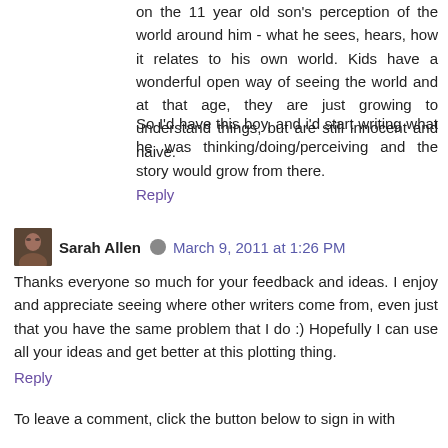on the 11 year old son's perception of the world around him - what he sees, hears, how it relates to his own world. Kids have a wonderful open way of seeing the world and at that age, they are just growing to understand things, but are still innocent and naive.
So I'd have this boy, and i'd start writing what he was thinking/doing/perceiving and the story would grow from there.
Reply
Sarah Allen  March 9, 2011 at 1:26 PM
Thanks everyone so much for your feedback and ideas. I enjoy and appreciate seeing where other writers come from, even just that you have the same problem that I do :) Hopefully I can use all your ideas and get better at this plotting thing.
Reply
To leave a comment, click the button below to sign in with Google.